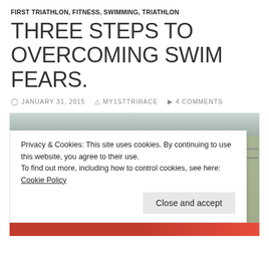FIRST TRIATHLON, FITNESS, SWIMMING, TRIATHLON
THREE STEPS TO OVERCOMING SWIM FEARS.
JANUARY 31, 2015  MY1STTRIRACE  4 COMMENTS
[Figure (photo): Indoor swimming pool with multiple lanes marked by red and white lane dividers. Two swimmers visible in the left lane. Pool water is blue-green. Taken from pool deck level perspective.]
Privacy & Cookies: This site uses cookies. By continuing to use this website, you agree to their use.
To find out more, including how to control cookies, see here: Cookie Policy
Close and accept